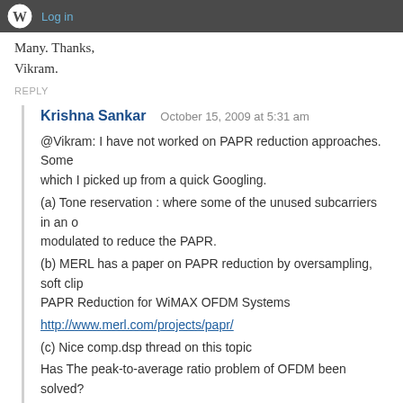Log in
Many. Thanks,
Vikram.
REPLY
Krishna Sankar   October 15, 2009 at 5:31 am
@Vikram: I have not worked on PAPR reduction approaches. Some which I picked up from a quick Googling.
(a) Tone reservation : where some of the unused subcarriers in an modulated to reduce the PAPR.
(b) MERL has a paper on PAPR reduction by oversampling, soft cli PAPR Reduction for WiMAX OFDM Systems
http://www.merl.com/projects/papr/
(c) Nice comp.dsp thread on this topic
Has The peak-to-average ratio problem of OFDM been solved?
http://tinyurl.com/6jn9ql
REPLY